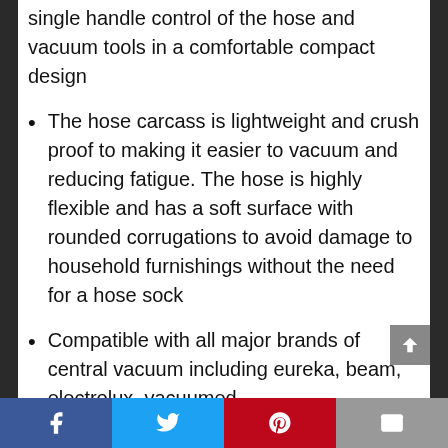single handle control of the hose and vacuum tools in a comfortable compact design
The hose carcass is lightweight and crush proof to making it easier to vacuum and reducing fatigue. The hose is highly flexible and has a soft surface with rounded corrugations to avoid damage to household furnishings without the need for a hose sock
Compatible with all major brands of central vacuum including eureka, beam, electrolux, vacuumed,
Facebook | Twitter | Pinterest | Email